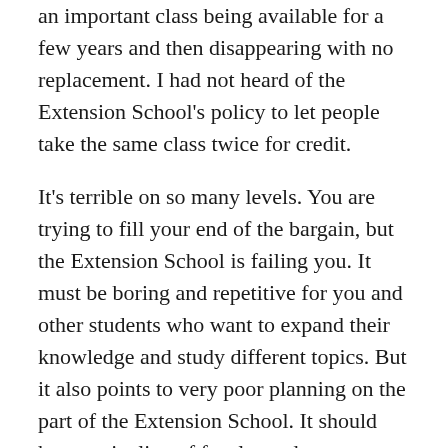an important class being available for a few years and then disappearing with no replacement. I had not heard of the Extension School's policy to let people take the same class twice for credit.

It's terrible on so many levels. You are trying to fill your end of the bargain, but the Extension School is failing you. It must be boring and repetitive for you and other students who want to expand their knowledge and study different topics. But it also points to very poor planning on the part of the Extension School. It should have a pipeline of faculty and courses to fill certain niches.